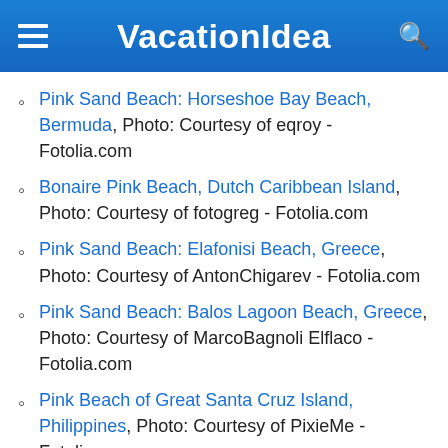VacationIdea
Pink Sand Beach: Horseshoe Bay Beach, Bermuda, Photo: Courtesy of eqroy - Fotolia.com
Bonaire Pink Beach, Dutch Caribbean Island, Photo: Courtesy of fotogreg - Fotolia.com
Pink Sand Beach: Elafonisi Beach, Greece, Photo: Courtesy of AntonChigarev - Fotolia.com
Pink Sand Beach: Balos Lagoon Beach, Greece, Photo: Courtesy of MarcoBagnoli Elflaco - Fotolia.com
Pink Beach of Great Santa Cruz Island, Philippines, Photo: Courtesy of PixieMe - Fotolia.com